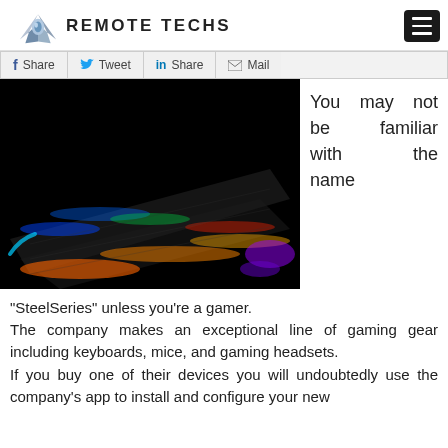REMOTE TECHS
[Figure (screenshot): Social sharing bar with Facebook Share, Twitter Tweet, LinkedIn Share, and Mail buttons]
[Figure (photo): RGB backlit mechanical gaming keyboard photographed from a low angle against a black background, showing colorful illuminated keys]
You may not be familiar with the name
“SteelSeries” unless you’re a gamer.
The company makes an exceptional line of gaming gear including keyboards, mice, and gaming headsets.
If you buy one of their devices you will undoubtedly use the company’s app to install and configure your new